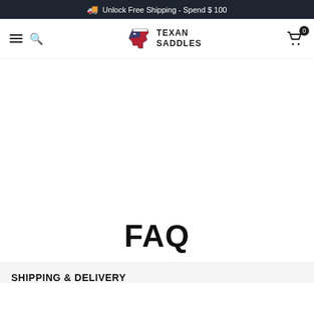🚚 Unlock Free Shipping - Spend $ 100
[Figure (logo): Texan Saddles logo with Texas state outline in American flag colors and bold uppercase text TEXAN SADDLES]
FAQ
SHIPPING & DELIVERY